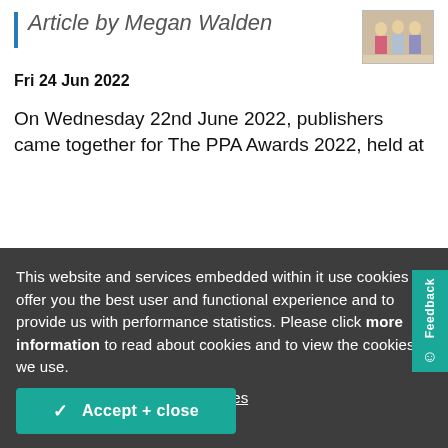Article by Megan Walden
Fri 24 Jun 2022
On Wednesday 22nd June 2022, publishers came together for The PPA Awards 2022, held at
[Figure (photo): Small photograph of people at an event]
This website and services embedded within it use cookies to offer you the best user and functional experience and to provide us with performance statistics. Please click more information to read about cookies and to view the cookies we use.

More information | Block cookies
Accept + close